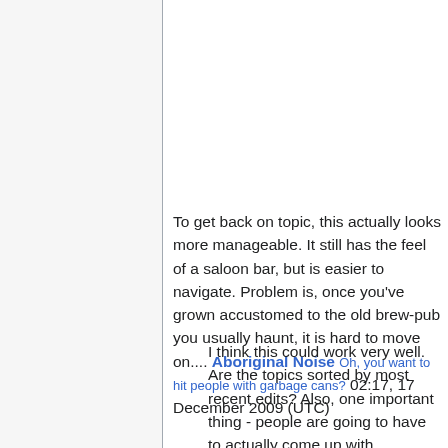To get back on topic, this actually looks more manageable. It still has the feel of a saloon bar, but is easier to navigate. Problem is, once you've grown accustomed to the old brew-pub you usually haunt, it is hard to move on.... Aboriginal Noise Oh, you want to hit people with garbage cans? 02:17, 17 December 2009 (UTC)
I think this could work very well. Are the topics sorted by most recent edits? Also, one important thing - people are going to have to actually come up with appropriate topic names, unlike the headers at the old SB - "Something I just thought of"